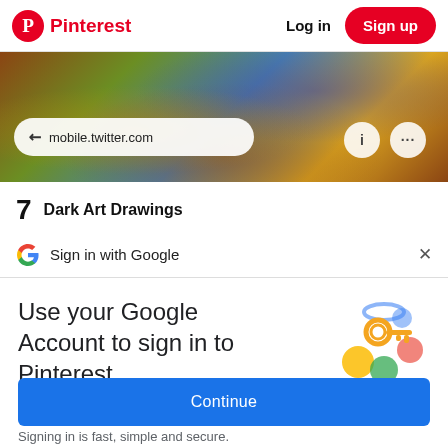Pinterest   Log in   Sign up
[Figure (screenshot): Colorful dark abstract artwork image behind mobile browser URL bar showing mobile.twitter.com with info and more-options icons]
7   Dark Art Drawings
G  Sign in with Google
Use your Google Account to sign in to Pinterest
No more passwords to remember. Signing in is fast, simple and secure.
[Figure (illustration): Google key illustration with colorful circular shapes and a key icon]
Continue